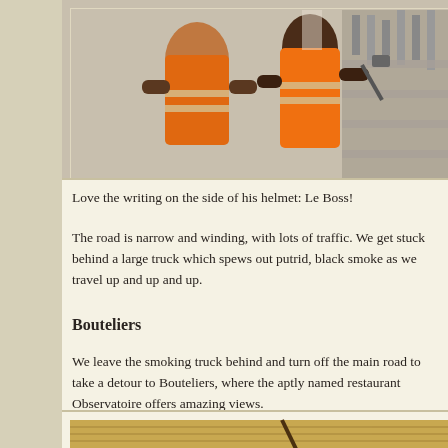[Figure (photo): Two construction workers wearing orange high-visibility vests at a building demolition or construction site, rubble visible in background]
Love the writing on the side of his helmet: Le Boss!
The road is narrow and winding, with lots of traffic. We get stuck behind a large truck which spews out putrid, black smoke as we travel up and up and up.
Bouteliers
We leave the smoking truck behind and turn off the main road to take a detour to Bouteliers, where the aptly named restaurant Observatoire offers amazing views.
[Figure (photo): View looking up at a wooden/canvas shade structure or pergola roof against a blue sky, possibly at an outdoor restaurant]